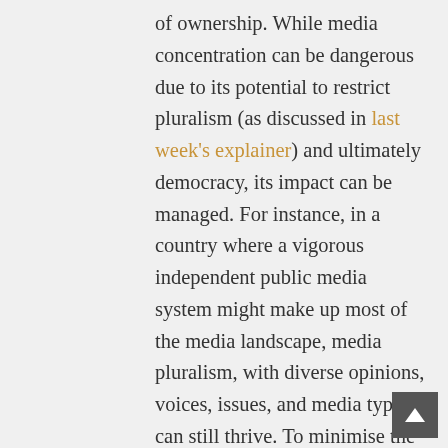of ownership. While media concentration can be dangerous due to its potential to restrict pluralism (as discussed in last week's explainer) and ultimately democracy, its impact can be managed. For instance, in a country where a vigorous independent public media system might make up most of the media landscape, media pluralism, with diverse opinions, voices, issues, and media types, can still thrive. To minimise the harm of media concentration, editorial independence free of external pressures, the presence of an independent regulator, and the existence and implementation of effective disclosure and transparency